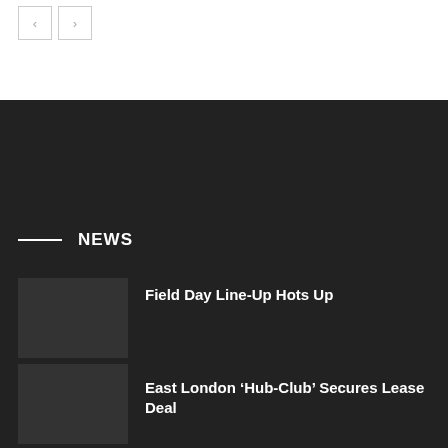[Figure (other): Navigation previous and next arrow buttons]
NEWS
Field Day Line-Up Hots Up
East London ‘Hub-Club’ Secures Lease Deal
Mogwai Fans Brace Themselves For